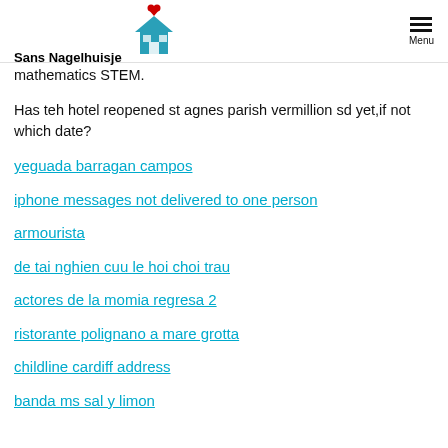Sans Nagelhuisje | Menu
mathematics STEM.
Has teh hotel reopened st agnes parish vermillion sd yet,if not which date?
yeguada barragan campos
iphone messages not delivered to one person
armourista
de tai nghien cuu le hoi choi trau
actores de la momia regresa 2
ristorante polignano a mare grotta
childline cardiff address
banda ms sal y limon